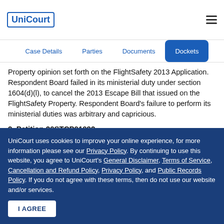UniCourt
Property opinion set forth on the FlightSafety 2013 Application. Respondent Board failed in its ministerial duty under section 1604(d)(l), to cancel the 2013 Escape Bill that issued on the FlightSafety Property. Respondent Board's failure to perform its ministerial duties was arbitrary and capricious.
2. Petition 20STCP01092
Petitioner FlightSafety commenced this proceeding on March 13,
UniCourt uses cookies to improve your online experience, for more information please see our Privacy Policy. By continuing to use this website, you agree to UniCourt's General Disclaimer, Terms of Service, Cancellation and Refund Policy, Privacy Policy, and Public Records Policy. If you do not agree with these terms, then do not use our website and/or services.
I AGREE